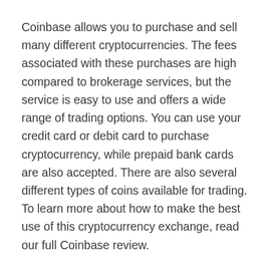Coinbase allows you to purchase and sell many different cryptocurrencies. The fees associated with these purchases are high compared to brokerage services, but the service is easy to use and offers a wide range of trading options. You can use your credit card or debit card to purchase cryptocurrency, while prepaid bank cards are also accepted. There are also several different types of coins available for trading. To learn more about how to make the best use of this cryptocurrency exchange, read our full Coinbase review.
The Coinbase website is an easy to use platform for buying and selling cryptocurrency. It is the best option for people who are new to this type of